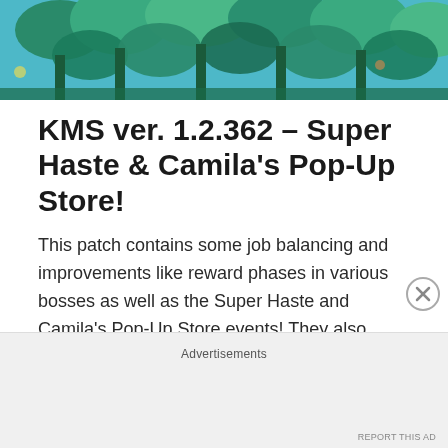[Figure (illustration): Banner/hero image showing a MapleStory game scene with teal-colored mushroom-like trees and foliage against a blue sky background]
KMS ver. 1.2.362 – Super Haste & Camila's Pop-Up Store!
This patch contains some job balancing and improvements like reward phases in various bosses as well as the Super Haste and Camila's Pop-Up Store events! They also added a couple more from KMST, the Jisoo in your MAPLE event (for the MapleStory Ambassador Jisoo) and an April Fool's Day event. …
Continue reading →
Advertisements